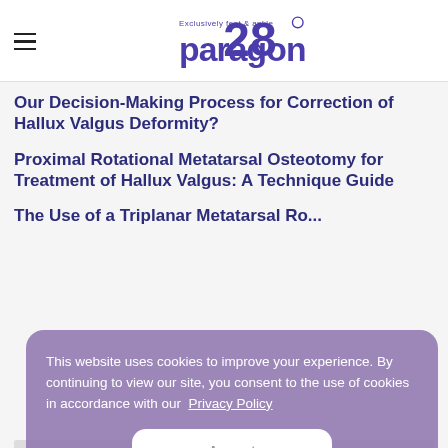Paragon 28 — Exclusively Feet & Ankle
Our Decision-Making Process for Correction of Hallux Valgus Deformity?
Proximal Rotational Metatarsal Osteotomy for Treatment of Hallux Valgus: A Technique Guide
The Use of a Triplanar Metatarsal Rotational [Osteotomy] for [Hallux] Valgus...
This website uses cookies to improve your experience. By continuing to view our site, you consent to the use of cookies in accordance with our Privacy Policy
Accept